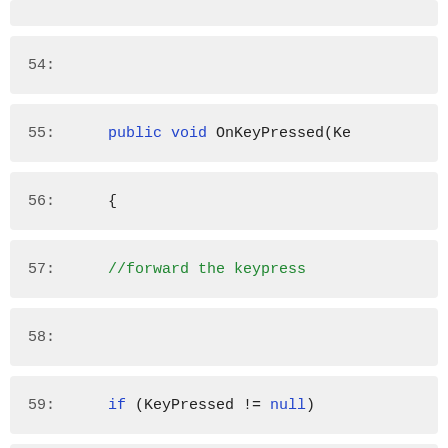54:
55:    public void OnKeyPressed(Ke
56:    {
57:    //forward the keypress
58:
59:    if (KeyPressed != null)
60:    {